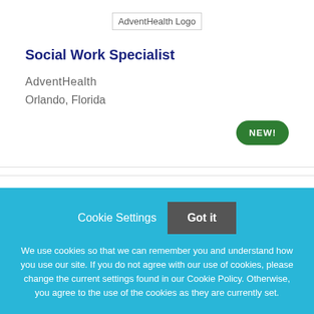[Figure (logo): AdventHealth Logo]
Social Work Specialist
AdventHealth
Orlando, Florida
NEW!
Cookie Settings
Got it
We use cookies so that we can remember you and understand how you use our site. If you do not agree with our use of cookies, please change the current settings found in our Cookie Policy. Otherwise, you agree to the use of the cookies as they are currently set.